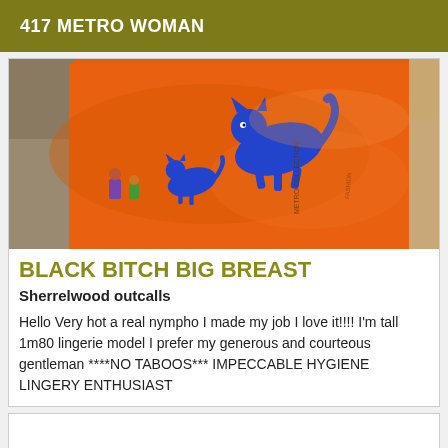417 METRO WOMAN
[Figure (photo): Close-up photo of an orange fabric/scarf with blue illustrated animal figures (cats/dogs) printed on it, with some rocky background visible]
BLACK BITCH BIG BREAST
Sherrelwood outcalls
Hello Very hot a real nympho I made my job I love it!!!! I'm tall 1m80 lingerie model I prefer my generous and courteous gentleman ****NO TABOOS*** IMPECCABLE HYGIENE LINGERY ENTHUSIAST